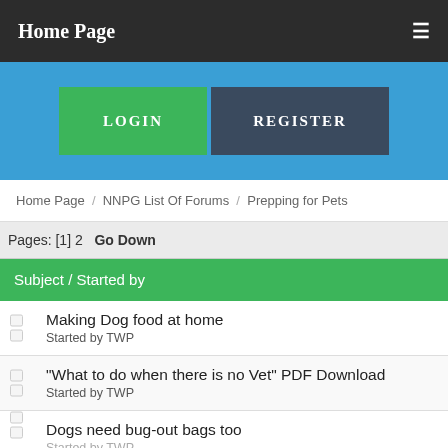Home Page
[Figure (screenshot): Blue hero section with LOGIN and REGISTER buttons]
Home Page / NNPG List Of Forums / Prepping for Pets
Pages: [1] 2  Go Down
| Subject / Started by |
| --- |
| Making Dog food at home
Started by TWP |
| "What to do when there is no Vet" PDF Download
Started by TWP |
| Dogs need bug-out bags too
Started by TWP |